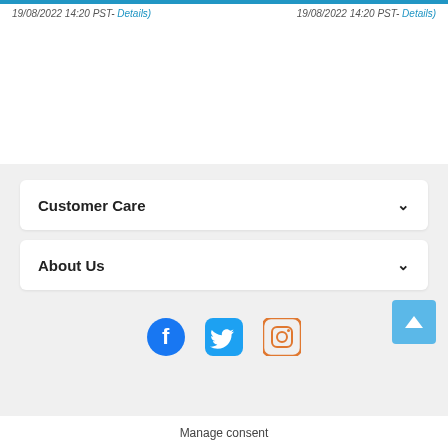19/08/2022 14:20 PST- Details)    19/08/2022 14:20 PST- Details)
Customer Care
About Us
[Figure (illustration): Social media icons: Facebook (blue circle with F), Twitter (blue rounded square with bird), Instagram (orange rounded square with camera)]
Manage consent